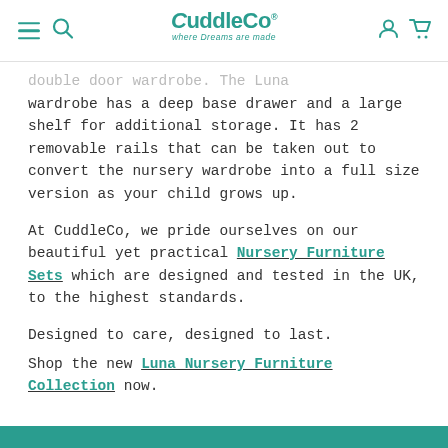CuddleCo — where Dreams are made
double door wardrobe. The Luna wardrobe has a deep base drawer and a large shelf for additional storage. It has 2 removable rails that can be taken out to convert the nursery wardrobe into a full size version as your child grows up.
At CuddleCo, we pride ourselves on our beautiful yet practical Nursery Furniture Sets which are designed and tested in the UK, to the highest standards.
Designed to care, designed to last.
Shop the new Luna Nursery Furniture Collection now.